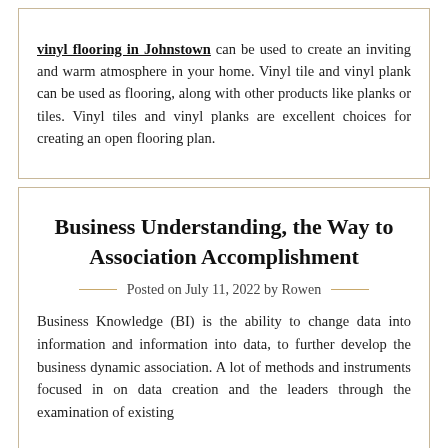vinyl flooring in Johnstown can be used to create an inviting and warm atmosphere in your home. Vinyl tile and vinyl plank can be used as flooring, along with other products like planks or tiles. Vinyl tiles and vinyl planks are excellent choices for creating an open flooring plan.
Business Understanding, the Way to Association Accomplishment
Posted on July 11, 2022 by Rowen
Business Knowledge (BI) is the ability to change data into information and information into data, to further develop the business dynamic association. A lot of methods and instruments focused in on data creation and the leaders through the examination of existing